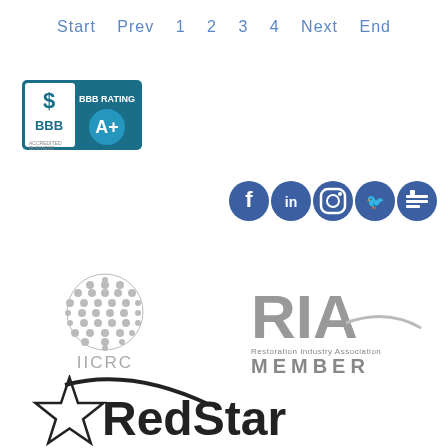Start  Prev  1  2  3  4  Next  End
[Figure (logo): BBB Accredited Business A+ Rating badge, teal/dark blue background with BBB logo and A+ rating]
[Figure (logo): Social media icons row: Facebook, LinkedIn, Instagram, Twitter, and another icon, all dark blue circles]
[Figure (logo): IICRC logo - grey globe/sphere with IICRC text below in grey]
[Figure (logo): RIA Restoration Industry Association MEMBER logo in grey]
[Figure (logo): RedStar logo with star graphic and bold text, partially visible at bottom]